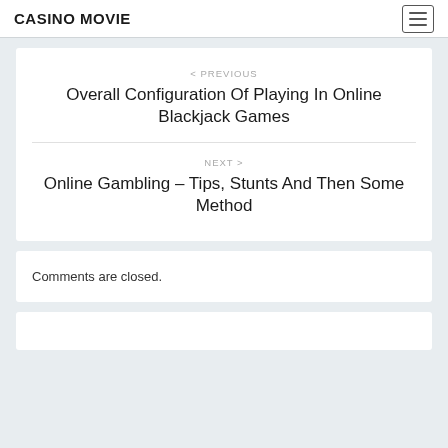CASINO MOVIE
< PREVIOUS
Overall Configuration Of Playing In Online Blackjack Games
NEXT >
Online Gambling – Tips, Stunts And Then Some Method
Comments are closed.